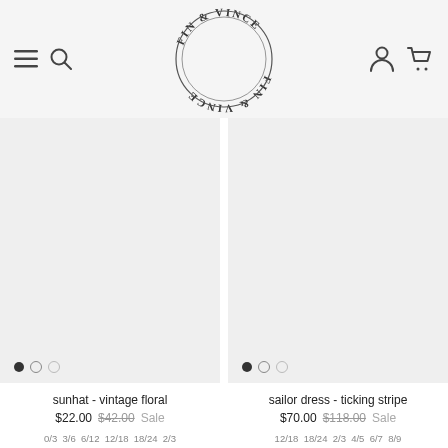[Figure (logo): Fin & Vince circular logo with text arranged in a circle, double-outlined letters in serif/western style]
[Figure (photo): Product image placeholder (light gray) for sunhat - vintage floral]
sunhat - vintage floral
$22.00  $42.00  Sale
0/3  3/6  6/12  12/18  18/24  2/3
[Figure (photo): Product image placeholder (light gray) for sailor dress - ticking stripe]
sailor dress - ticking stripe
$70.00  $118.00  Sale
12/18  18/24  2/3  4/5  6/7  8/9